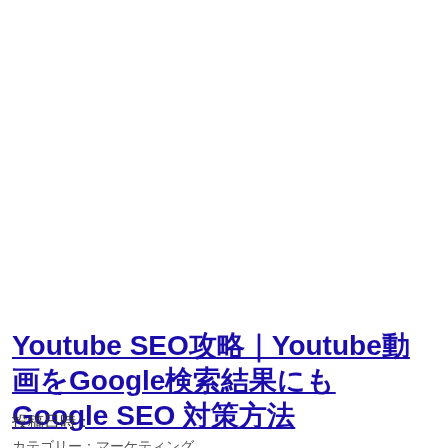Youtube SEO攻略｜Youtube動画をGoogle検索結果にも Google SEO 対策方法
投稿日時：
カテゴリー：マーケティング